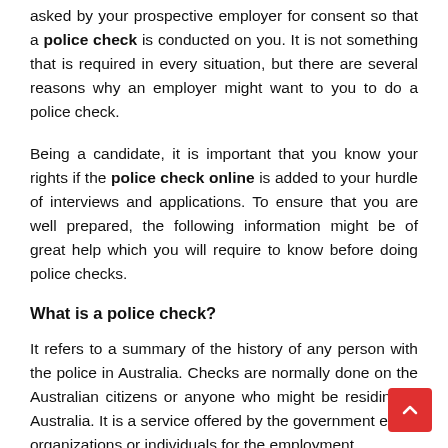asked by your prospective employer for consent so that a police check is conducted on you. It is not something that is required in every situation, but there are several reasons why an employer might want to you to do a police check.
Being a candidate, it is important that you know your rights if the police check online is added to your hurdle of interviews and applications. To ensure that you are well prepared, the following information might be of great help which you will require to know before doing police checks.
What is a police check?
It refers to a summary of the history of any person with the police in Australia. Checks are normally done on the Australian citizens or anyone who might be residing in Australia. It is a service offered by the government either organizations or individuals for the employment,